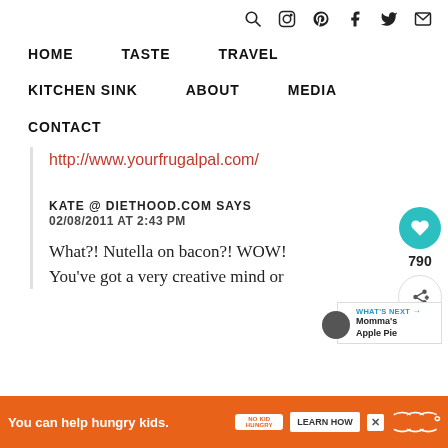Navigation icons: search, instagram, pinterest, facebook, twitter, email
HOME   TASTE   TRAVEL   KITCHEN SINK   ABOUT   MEDIA   CONTACT
http://www.yourfrugalpal.com/
KATE @ DIETHOOD.COM SAYS
02/08/2011 AT 2:43 PM
What?! Nutella on bacon?! WOW! You've got a very creative mind or